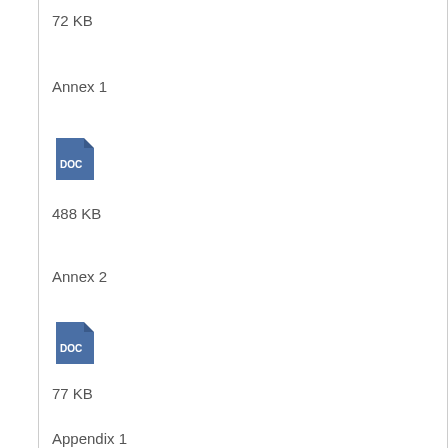72 KB
Annex 1
[Figure (other): DOC file icon - blue document icon with 'DOC' label]
488 KB
Annex 2
[Figure (other): DOC file icon - blue document icon with 'DOC' label]
77 KB
Appendix 1